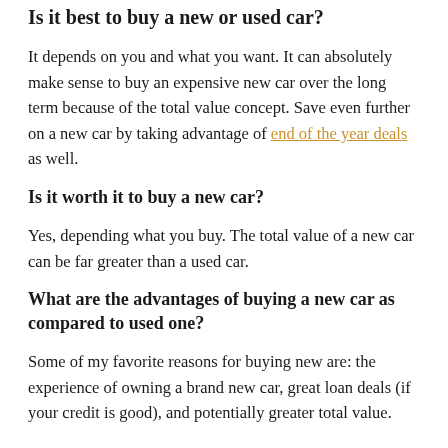Is it best to buy a new or used car?
It depends on you and what you want. It can absolutely make sense to buy an expensive new car over the long term because of the total value concept. Save even further on a new car by taking advantage of end of the year deals as well.
Is it worth it to buy a new car?
Yes, depending what you buy. The total value of a new car can be far greater than a used car.
What are the advantages of buying a new car as compared to used one?
Some of my favorite reasons for buying new are: the experience of owning a brand new car, great loan deals (if your credit is good), and potentially greater total value.